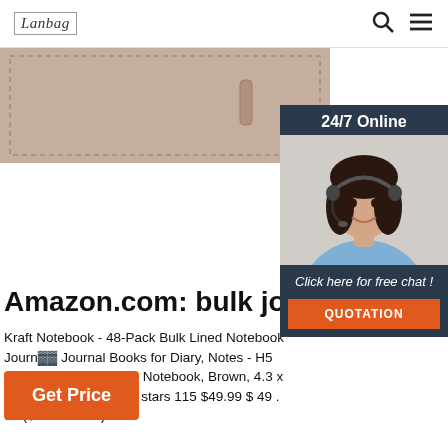Lanbag | Search | Menu
[Figure (photo): Partial view of a kraft/brown leather notebook product, showing the top portion with stitched edges and a pen loop.]
[Figure (infographic): 24/7 Online chat widget with a woman wearing a headset. Dark navy background. Text: '24/7 Online', 'Click here for free chat!', and an orange 'QUOTATION' button.]
Amazon.com: bulk journals
Kraft Notebook - 48-Pack Bulk Lined Notebook Journal Books for Diary, Notes - H5 Size, Soft Cover Sewn Notebook, Brown, 4.3 x 8.2 Inches 4.8 out of 5 stars 115 $49.99 $ 49 . 99 ($1.04/Count)
Get Price